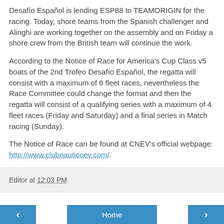Desafío Español is lending ESP88 to TEAMORIGIN for the racing. Today, shore teams from the Spanish challenger and Alinghi are working together on the assembly and on Friday a shore crew from the British team will continue the work.
According to the Notice of Race for America's Cup Class v5 boats of the 2nd Trofeo Desafío Español, the regatta will consist with a maximum of 6 fleet races, nevertheless the Race Committee could change the format and then the regatta will consist of a qualifying series with a maximum of 4 fleet races (Friday and Saturday) and a final series in Match racing (Sunday).
The Notice of Race can be found at CNEV's official webpage: http://www.clubnauticoev.com/.
Editor at 12:03 PM